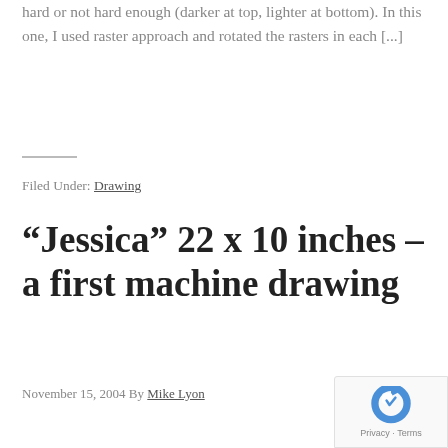hard or not hard enough (darker at top, lighter at bottom). In this one, I used raster approach and rotated the rasters in each [...]
Filed Under: Drawing
“Jessica” 22 x 10 inches – a first machine drawing
November 15, 2004 By Mike Lyon